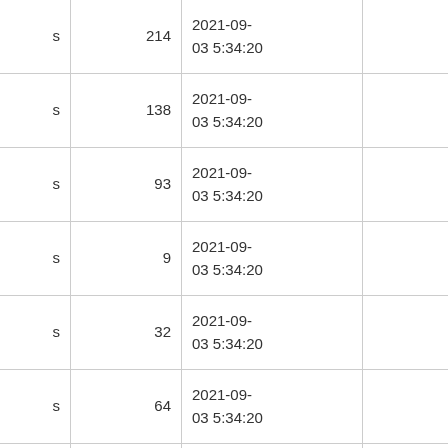| s | 214 | 2021-09-03 5:34:20 |  |
| s | 138 | 2021-09-03 5:34:20 |  |
| s | 93 | 2021-09-03 5:34:20 |  |
| s | 9 | 2021-09-03 5:34:20 |  |
| s | 32 | 2021-09-03 5:34:20 |  |
| s | 64 | 2021-09-03 5:34:20 |  |
| s |  | 2021-09- |  |